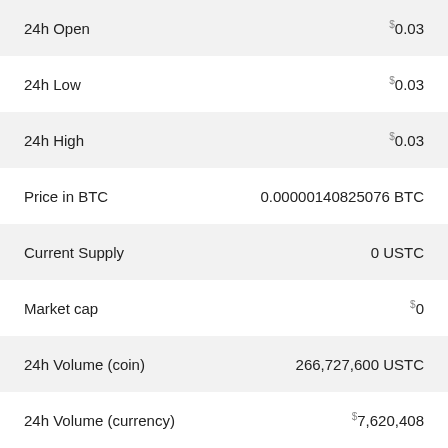| Label | Value |
| --- | --- |
| 24h Open | $0.03 |
| 24h Low | $0.03 |
| 24h High | $0.03 |
| Price in BTC | 0.00000140825076 BTC |
| Current Supply | 0 USTC |
| Market cap | $0 |
| 24h Volume (coin) | 266,727,600 USTC |
| 24h Volume (currency) | $7,620,408 |
| Last updated | 2022-08-26 01:41:35 +01:00 BST |